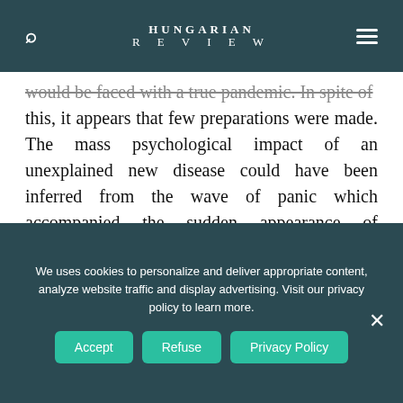HUNGARIAN REVIEW
would be faced with a true pandemic. In spite of this, it appears that few preparations were made. The mass psychological impact of an unexplained new disease could have been inferred from the wave of panic which accompanied the sudden appearance of HIV/AIDS in the 1980s. In her memorable analysis of this phenomenon, Susan Sontag wrote about the counterproductive mythologies which public anxiety constructs in times of
We uses cookies to personalize and deliver appropriate content, analyze website traffic and display advertising. Visit our privacy policy to learn more.